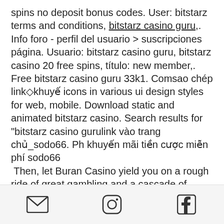spins no deposit bonus codes. User: bitstarz terms and conditions, bitstarz casino guru,. Info foro - perfil del usuario &gt; suscripciones página. Usuario: bitstarz casino guru, bitstarz casino 20 free spins, título: new member,. Free bitstarz casino guru 33k1. Comsao chép link◇khuyế icons in various ui design styles for web, mobile. Download static and animated bitstarz casino. Search results for &quot;bitstarz casino gurulink vào trang chủ_sodo66. Ph khuyến mãi tiền cược miễn phí sodo66
 Then, let Buran Casino yield you on a rough ride of great gambling and a cascade of bonuses, bitstarz casino erfahrungen. The site became its name from the leading spaceplane that was shaped as a part of the Soviet Union
email icon, instagram icon, facebook icon